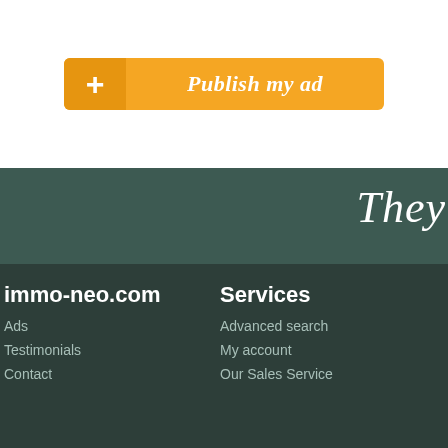[Figure (other): Orange 'Publish my ad' button with a plus icon on the left side]
[Figure (other): Dark green banner with 'They' italic text and logos: nice-matin, LE FIGARO MAGAZINE, RMC INFO TAL (partially visible)]
immo-neo.com
Ads
Testimonials
Contact

Services
Advanced search
My account
Our Sales Service